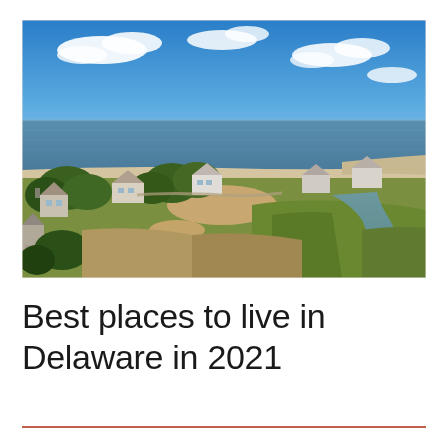[Figure (photo): Aerial drone photograph of a Delaware coastal beach community. The upper half shows a bright blue sky with scattered white clouds and a calm ocean/bay stretching to the horizon with a sandy beach shoreline. The lower half shows residential beach houses among green trees, sandy patches, marshland grasses, and a tidal creek or canal winding through the scene.]
Best places to live in Delaware in 2021